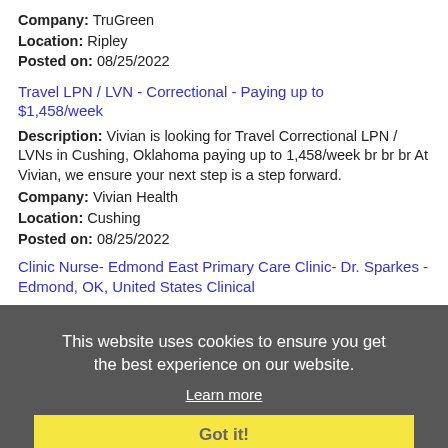Company: TruGreen
Location: Ripley
Posted on: 08/25/2022
Travel LPN / LVN - Correctional - Paying up to $1,458/week
Description: Vivian is looking for Travel Correctional LPN / LVNs in Cushing, Oklahoma paying up to 1,458/week br br br At Vivian, we ensure your next step is a step forward.
Company: Vivian Health
Location: Cushing
Posted on: 08/25/2022
Clinic Nurse- Edmond East Primary Care Clinic- Dr. Sparkes - Edmond, OK, United States Clinical
Description: Clinic Nurse- Edmond East Primary Care Clinic- Dr. Sparkes - Edmond, OK, United States br INTEGRIS Health
Company: INTEGRIS Canadian Valley Regional Hospital
Location: Edmond
Posted on: 08/25/2022
Customer Service Representative
Description: Do you thrive on making a positive, lasting impact
Company: Security Finance Corporation